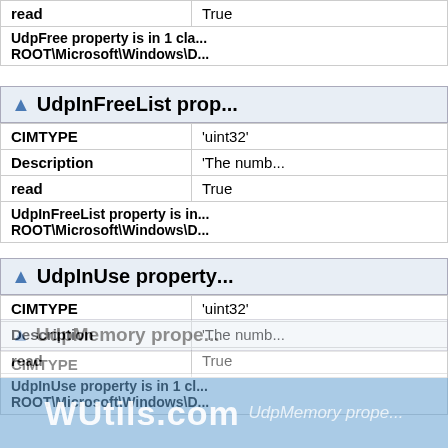| Property | Value |
| --- | --- |
| read | True |
| UdpFree property is in 1 cla... | ROOT\Microsoft\Windows\D... |
▲ UdpInFreeList prop...
| Property | Value |
| --- | --- |
| CIMTYPE | 'uint32' |
| Description | 'The numb... |
| read | True |
| UdpInFreeList property is in... | ROOT\Microsoft\Windows\D... |
▲ UdpInUse property...
| Property | Value |
| --- | --- |
| CIMTYPE | 'uint32' |
| Description | 'The numb... |
| read | True |
| UdpInUse property is in 1 cl... | ROOT\Microsoft\Windows\D... |
▲ UdpMemory prope...
| Property | Value |
| --- | --- |
| CIMTYPE | ... |
[Figure (logo): WUtils.com watermark overlay]